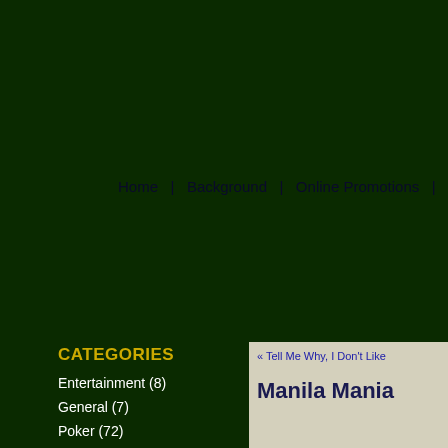Home  |  Background  |  Online Promotions  |
CATEGORIES
Entertainment (8)
General (7)
Poker (72)
« Tell Me Why, I Don't Like
Manila Mania